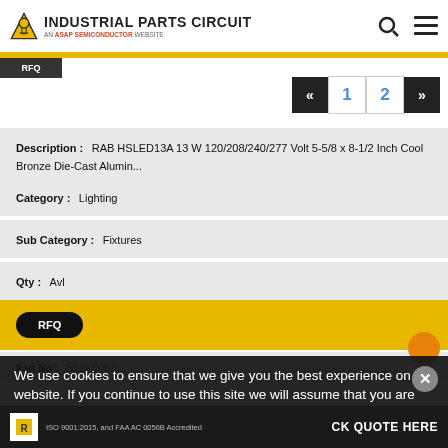INDUSTRIAL PARTS CIRCUIT — An ASAP Semiconductor Website
Description : RAB HSLED13A 13 W 120/208/240/277 Volt 5-5/8 x 8-1/2 Inch Cool Bronze Die-Cast Alumin...
Category : Lighting
Sub Category : Fixtures
Qty : Avl
RFQ
Part No : HSLED26A...
We use cookies to ensure that we give you the best experience on our website. If you continue to use this site we will assume that you are happy with it.
ISO 9001:2015, and FAA AC 0056B Accredited
Yes, I Accept Cookies.
CK QUOTE HERE